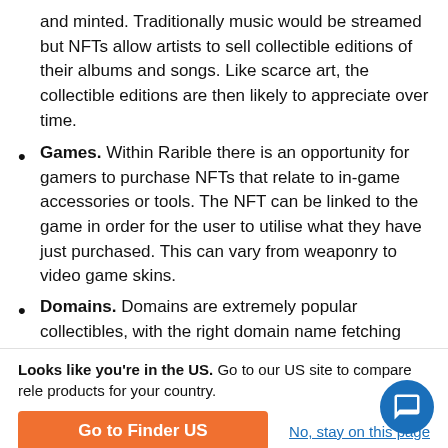and minted. Traditionally music would be streamed but NFTs allow artists to sell collectible editions of their albums and songs. Like scarce art, the collectible editions are then likely to appreciate over time.
Games. Within Rarible there is an opportunity for gamers to purchase NFTs that relate to in-game accessories or tools. The NFT can be linked to the game in order for the user to utilise what they have just purchased. This can vary from weaponry to video game skins.
Domains. Domains are extremely popular collectibles, with the right domain name fetching thousands of dollars. The ownership of these domains can be sold and distributed using Rarible.
Metaverses. Metaverses are a collection of parallel
Looks like you're in the US. Go to our US site to compare rele products for your country.
Go to Finder US
No, stay on this page